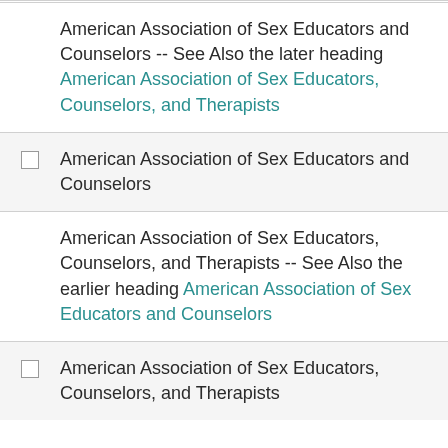American Association of Sex Educators and Counselors -- See Also the later heading American Association of Sex Educators, Counselors, and Therapists
American Association of Sex Educators and Counselors
American Association of Sex Educators, Counselors, and Therapists -- See Also the earlier heading American Association of Sex Educators and Counselors
American Association of Sex Educators, Counselors, and Therapists